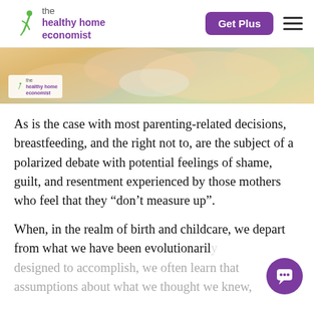the healthy home economist | Get Plus
[Figure (photo): A woman holding a baby, with a watermark logo of 'the healthy home economist' in the lower left corner.]
As is the case with most parenting-related decisions, breastfeeding, and the right not to, are the subject of a polarized debate with potential feelings of shame, guilt, and resentment experienced by those mothers who feel that they “don’t measure up”.
When, in the realm of birth and childcare, we depart from what we have been evolutionarily designed to accomplish, we often learn that assumptions about what we thought we knew,